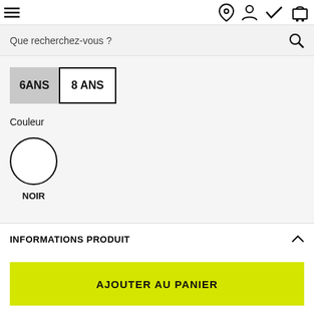≡  [location icon] [user icon] [heart icon] [cart icon]
Que recherchez-vous ?
6ANS  8 ANS
Couleur
NOIR
INFORMATIONS PRODUIT
Informations produit
AJOUTER AU PANIER